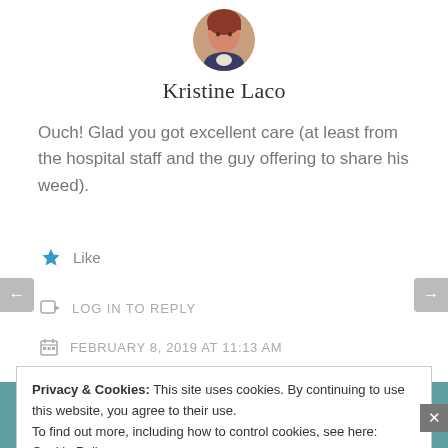[Figure (photo): Round avatar photo of Kristine Laco, a woman with red/auburn hair]
Kristine Laco
Ouch! Glad you got excellent care (at least from the hospital staff and the guy offering to share his weed).
★ Like
LOG IN TO REPLY
FEBRUARY 8, 2019 AT 11:13 AM
Privacy & Cookies: This site uses cookies. By continuing to use this website, you agree to their use.
To find out more, including how to control cookies, see here: Cookie Policy
Close and accept